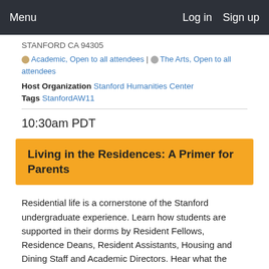Menu  Log in  Sign up
STANFORD CA 94305
Academic, Open to all attendees | The Arts, Open to all attendees
Host Organization Stanford Humanities Center
Tags StanfordAW11
10:30am PDT
Living in the Residences: A Primer for Parents
Residential life is a cornerstone of the Stanford undergraduate experience. Learn how students are supported in their dorms by Resident Fellows, Residence Deans, Resident Assistants, Housing and Dining Staff and Academic Directors. Hear what the residential community is all about and ask the panel your questions. Students are welcome to join this event. Following the panel, please join